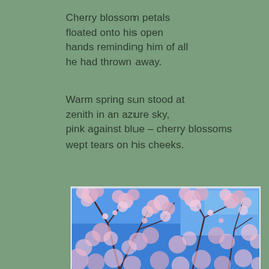Cherry blossom petals floated onto his open hands reminding him of all he had thrown away.
Warm spring sun stood at zenith in an azure sky, pink against blue – cherry blossoms wept tears on his cheeks.
[Figure (photo): Photo of cherry blossom tree branches covered in pink flowers against a bright blue sky, taken from below looking upward.]